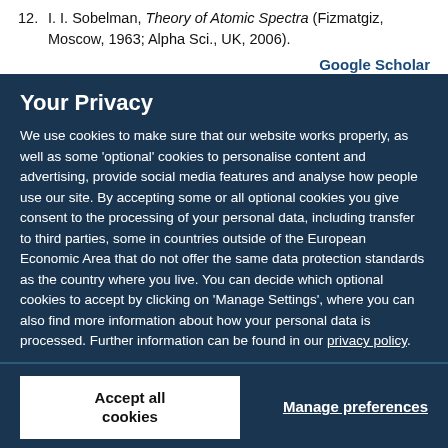12. I. I. Sobelman, Theory of Atomic Spectra (Fizmatgiz, Moscow, 1963; Alpha Sci., UK, 2006).
Google Scholar
Your Privacy
We use cookies to make sure that our website works properly, as well as some 'optional' cookies to personalise content and advertising, provide social media features and analyse how people use our site. By accepting some or all optional cookies you give consent to the processing of your personal data, including transfer to third parties, some in countries outside of the European Economic Area that do not offer the same data protection standards as the country where you live. You can decide which optional cookies to accept by clicking on 'Manage Settings', where you can also find more information about how your personal data is processed. Further information can be found in our privacy policy.
Accept all cookies
Manage preferences